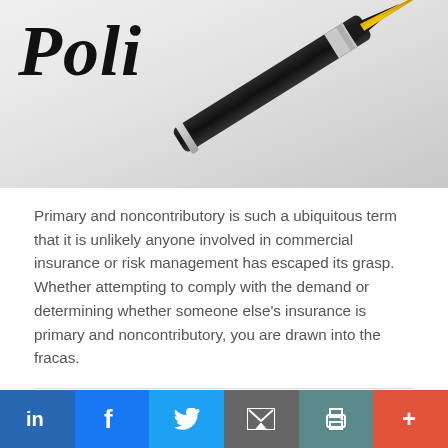[Figure (photo): Photo of an insurance policy document with a fountain pen resting on it, showing partial text 'Poli...' in bold italic serif font]
Primary and noncontributory is such a ubiquitous term that it is unlikely anyone involved in commercial insurance or risk management has escaped its grasp. Whether attempting to comply with the demand or determining whether someone else's insurance is primary and noncontributory, you are drawn into the fracas.
Craig F. Stanovich
December 2018
Liability Insurance